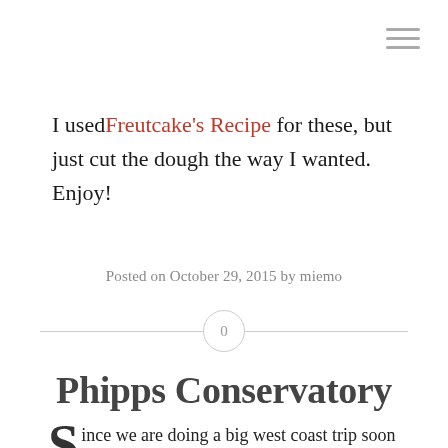[Figure (other): Hamburger menu icon (three horizontal lines) in top right corner]
I used Freutcake's Recipe for these, but just cut the dough the way I wanted. Enjoy!
Posted on October 29, 2015 by miemo
0
Phipps Conservatory
Since we are doing a big west coast trip soon